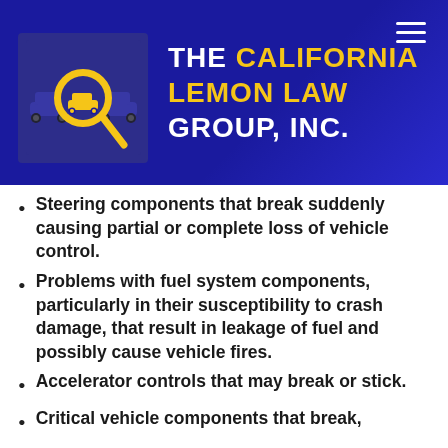[Figure (logo): The California Lemon Law Group, Inc. logo with car and magnifying glass icon on dark blue background]
THE CALIFORNIA LEMON LAW GROUP, INC.
Steering components that break suddenly causing partial or complete loss of vehicle control.
Problems with fuel system components, particularly in their susceptibility to crash damage, that result in leakage of fuel and possibly cause vehicle fires.
Accelerator controls that may break or stick.
Critical vehicle components that break, fall…